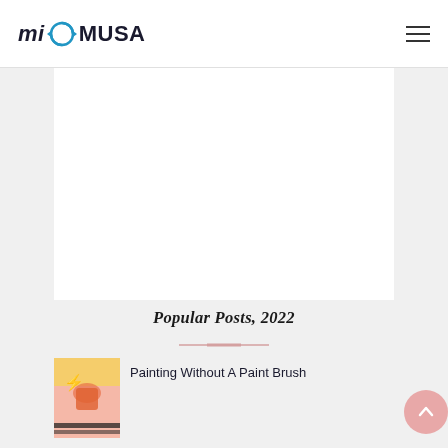miOMUSA
[Figure (illustration): Large white rectangular advertisement/content area placeholder in the center of the page]
Popular Posts, 2022
[Figure (illustration): Thumbnail image showing a painting illustration with a person's hand holding a paint bucket, pink background]
Painting Without A Paint Brush